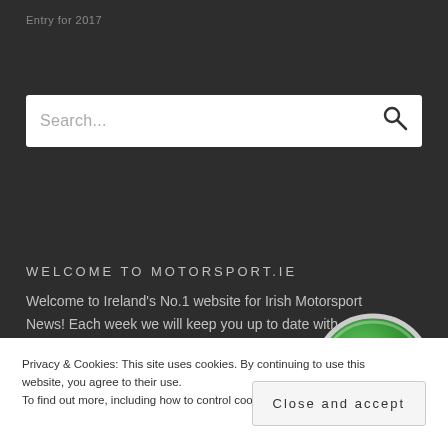Entry for 2017
Search...
WELCOME TO MOTORSPORT.IE
Welcome to Ireland's No.1 website for Irish Motorsport News! Each week we will keep you up to date with results, news and blogs.
If you have any news you would like us to
[Figure (illustration): Green oval speedometer/gauge icon with a white needle pointing to the upper left, set against a dark background]
Privacy & Cookies: This site uses cookies. By continuing to use this website, you agree to their use.
To find out more, including how to control cookies,
Close and accept